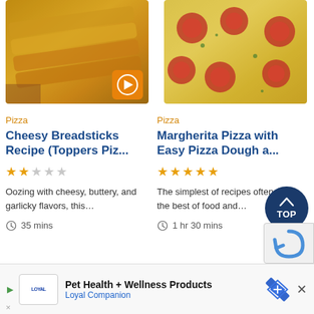[Figure (photo): Cheesy breadsticks on a wooden board with melted cheese, with an orange play button overlay]
[Figure (photo): Margherita pizza with tomato slices and melted cheese on top]
Pizza
Pizza
Cheesy Breadsticks Recipe (Toppers Piz...
Margherita Pizza with Easy Pizza Dough a...
★★☆☆☆
★★★★★
Oozing with cheesy, buttery, and garlicky flavors, this…
The simplest of recipes often yield the best of food and…
35 mins
1 hr 30 mins
Pet Health + Wellness Products
Loyal Companion